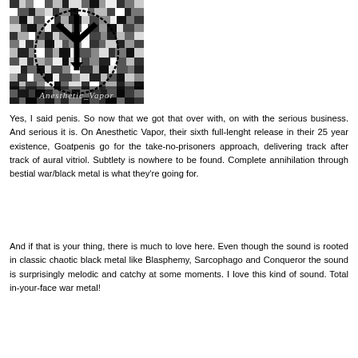[Figure (photo): Black and white digital camouflage pattern image with a large Y-shaped symbol in the center inside a circular border, and text 'Anesthetic Vapor' at the bottom in gothic/metal style font.]
Yes, I said penis. So now that we got that over with, on with the serious business. And serious it is. On Anesthetic Vapor, their sixth full-lenght release in their 25 year existence, Goatpenis go for the take-no-prisoners approach, delivering track after track of aural vitriol. Subtlety is nowhere to be found. Complete annihilation through bestial war/black metal is what they're going for.
And if that is your thing, there is much to love here. Even though the sound is rooted in classic chaotic black metal like Blasphemy, Sarcophago and Conqueror the sound is surprisingly melodic and catchy at some moments. I love this kind of sound. Total in-your-face war metal!